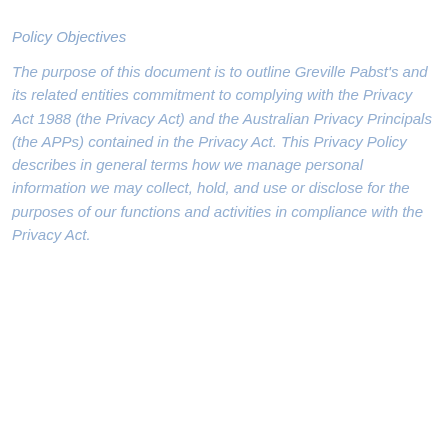Policy Objectives
The purpose of this document is to outline Greville Pabst's and its related entities commitment to complying with the Privacy Act 1988 (the Privacy Act) and the Australian Privacy Principals (the APPs) contained in the Privacy Act. This Privacy Policy describes in general terms how we manage personal information we may collect, hold, and use or disclose for the purposes of our functions and activities in compliance with the Privacy Act.